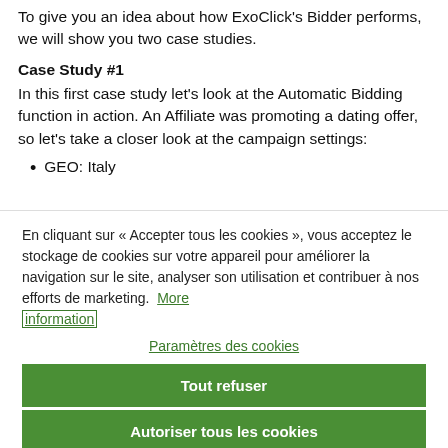To give you an idea about how ExoClick's Bidder performs, we will show you two case studies.
Case Study #1
In this first case study let's look at the Automatic Bidding function in action. An Affiliate was promoting a dating offer, so let's take a closer look at the campaign settings:
GEO: Italy
En cliquant sur « Accepter tous les cookies », vous acceptez le stockage de cookies sur votre appareil pour améliorer la navigation sur le site, analyser son utilisation et contribuer à nos efforts de marketing.  More information
Paramètres des cookies
Tout refuser
Autoriser tous les cookies